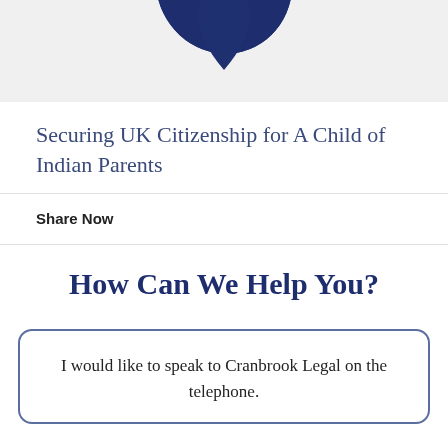[Figure (illustration): Partial dark navy blue logo or icon shape visible at top, cropped, on a light grey background]
Securing UK Citizenship for A Child of Indian Parents
Share Now
How Can We Help You?
I would like to speak to Cranbrook Legal on the telephone.